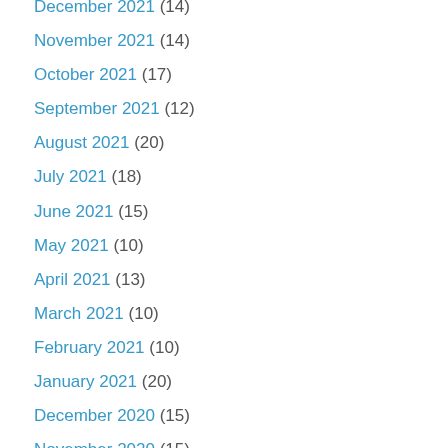December 2021 (14)
November 2021 (14)
October 2021 (17)
September 2021 (12)
August 2021 (20)
July 2021 (18)
June 2021 (15)
May 2021 (10)
April 2021 (13)
March 2021 (10)
February 2021 (10)
January 2021 (20)
December 2020 (15)
November 2020 (15)